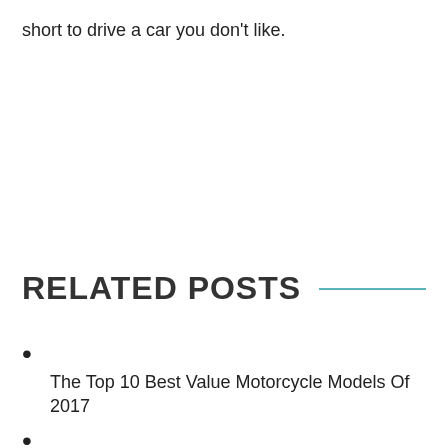short to drive a car you don't like.
RELATED POSTS
The Top 10 Best Value Motorcycle Models Of 2017
10 Dog Road Trip Essentials